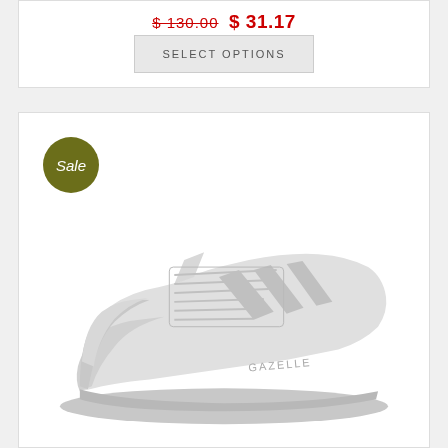$ 130.00  $ 31.17
SELECT OPTIONS
[Figure (photo): White Adidas Gazelle sneaker shown from the side on a white background, with a Sale badge (olive green circle) in the top left corner of the product card.]